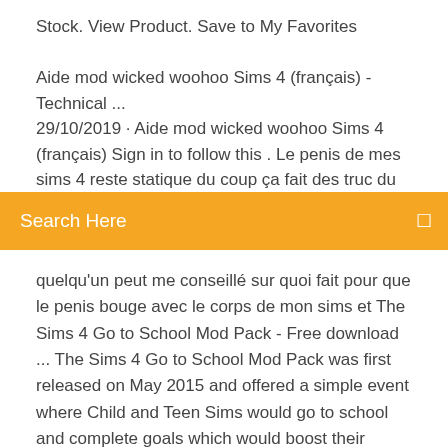Stock. View Product. Save to My Favorites
Aide mod wicked woohoo Sims 4 (français) - Technical ... 29/10/2019 · Aide mod wicked woohoo Sims 4 (français) Sign in to follow this . Le penis de mes sims 4 reste statique du coup ça fait des truc du gens il se baisse pour faire sont truc mes
Search Here
quelqu'un peut me conseillé sur quoi fait pour que le penis bouge avec le corps de mon sims et The Sims 4 Go to School Mod Pack - Free download ... The Sims 4 Go to School Mod Pack was first released on May 2015 and offered a simple event where Child and Teen Sims would go to school and complete goals which would boost their grade. This new Le mod *Go To School* remarche ! De... - Les Sims 4: Les ... Le mod *Go To School* remarche ! De plus, j'ai listé d'autres mods idéaux pour les écoles et les enfants :) : MOD PROSTITUTION "Use it Up" traduction FR - Downloads